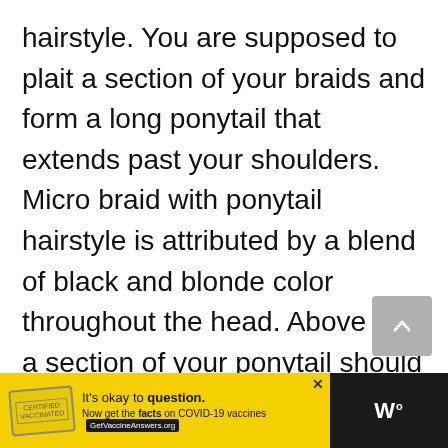hairstyle. You are supposed to plait a section of your braids and form a long ponytail that extends past your shoulders. Micro braid with ponytail hairstyle is attributed by a blend of black and blonde color throughout the head. Above all, a section of your ponytail should attain a curly-wavy look. This is what makes micro braids with ponytail stand out.
[Figure (other): Advertisement banner: yellow background with a stamp icon, text 'It's okay to question. Now get the facts on COVID-19 vaccines GetVaccineAnswers.org', with a close button and a dark right section with Wm logo]